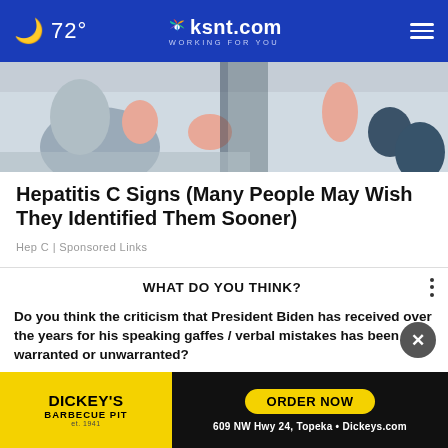72° ksnt.com WORKING FOR YOU
[Figure (illustration): Abstract illustration showing stylized human figures in muted blue, peach, and dark tones]
Hepatitis C Signs (Many People May Wish They Identified Them Sooner)
Hep C | Sponsored Links
WHAT DO YOU THINK?
Do you think the criticism that President Biden has received over the years for his speaking gaffes / verbal mistakes has been warranted or unwarranted?
Totally warranted
Somewhat warranted
Somewhat unwarranted
[Figure (other): Dickey's Barbecue Pit advertisement banner: ORDER NOW, 609 NW Hwy 24, Topeka • Dickeys.com]